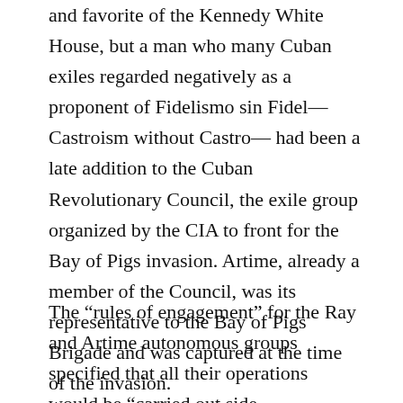and favorite of the Kennedy White House, but a man who many Cuban exiles regarded negatively as a proponent of Fidelismo sin Fidel—Castroism without Castro— had been a late addition to the Cuban Revolutionary Council, the exile group organized by the CIA to front for the Bay of Pigs invasion. Artime, already a member of the Council, was its representative to the Bay of Pigs Brigade and was captured at the time of the invasion.
The “rules of engagement” for the Ray and Artime autonomous groups specified that all their operations would be “carried out side